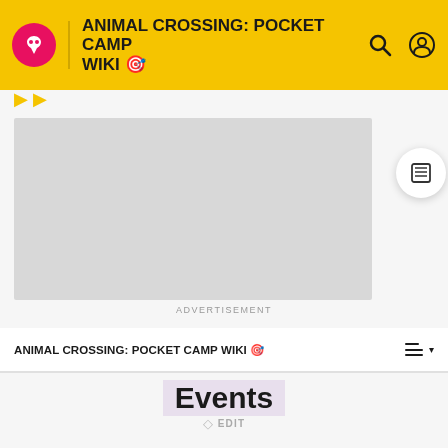ANIMAL CROSSING: POCKET CAMP WIKI
[Figure (other): Advertisement placeholder - gray rectangle]
ADVERTISEMENT
ANIMAL CROSSING: POCKET CAMP WIKI
Events
✏ EDIT
A page dedicated to upcoming, current, and past events.
Upcoming Events